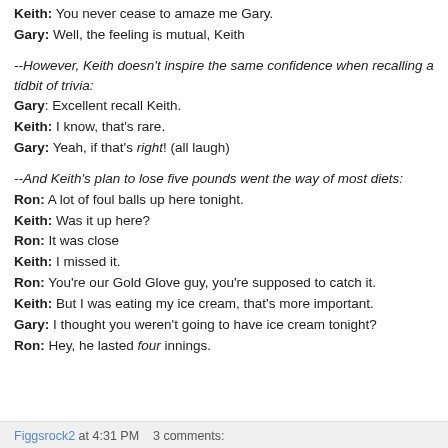Keith: You never cease to amaze me Gary.
Gary: Well, the feeling is mutual, Keith
--However, Keith doesn't inspire the same confidence when recalling a tidbit of trivia:
Gary: Excellent recall Keith.
Keith: I know, that's rare.
Gary: Yeah, if that's right! (all laugh)
--And Keith's plan to lose five pounds went the way of most diets:
Ron: A lot of foul balls up here tonight.
Keith: Was it up here?
Ron: It was close
Keith: I missed it.
Ron: You're our Gold Glove guy, you're supposed to catch it.
Keith: But I was eating my ice cream, that's more important.
Gary: I thought you weren't going to have ice cream tonight?
Ron: Hey, he lasted four innings.
Figgsrock2 at 4:31 PM   3 comments: